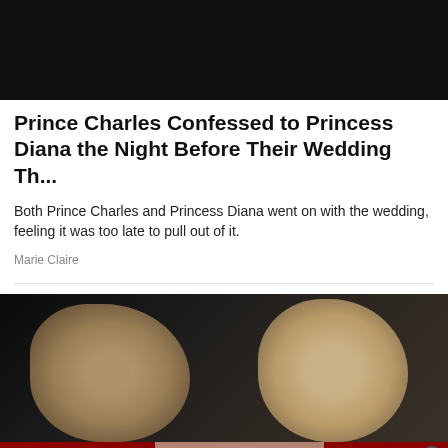[Figure (photo): Partial view of Prince Charles and Princess Diana, showing bottom portion including white wedding dress fabric against dark background]
Prince Charles Confessed to Princess Diana the Night Before Their Wedding Th...
Both Prince Charles and Princess Diana went on with the wedding, feeling it was too late to pull out of it.
Marie Claire
[Figure (photo): A couple — a blonde woman in foreground and a young man with blue eyes in background — photographed against a dark background]
[Figure (photo): Macy's advertisement banner: 'KISS BORING LIPS GOODBYE' with a model wearing red lipstick, a SHOP NOW button, and the Macy's star logo]